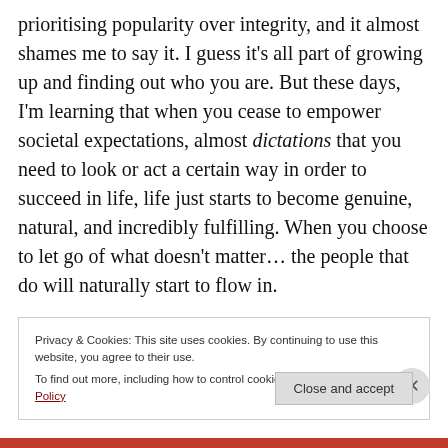prioritising popularity over integrity, and it almost shames me to say it. I guess it's all part of growing up and finding out who you are. But these days, I'm learning that when you cease to empower societal expectations, almost dictations that you need to look or act a certain way in order to succeed in life, life just starts to become genuine, natural, and incredibly fulfilling. When you choose to let go of what doesn't matter… the people that do will naturally start to flow in.
Privacy & Cookies: This site uses cookies. By continuing to use this website, you agree to their use. To find out more, including how to control cookies, see here: Cookie Policy